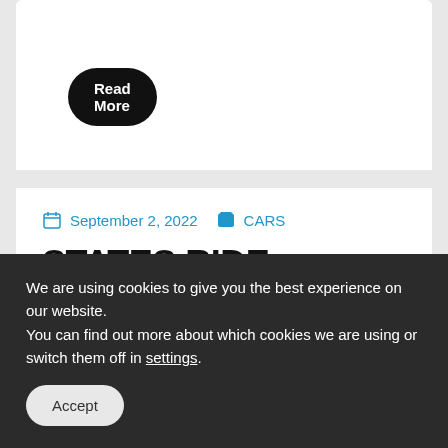Read More
September 2, 2022   CARS
STATES RIDE SHOTGUN
We are using cookies to give you the best experience on our website.
You can find out more about which cookies we are using or switch them off in settings.
Accept